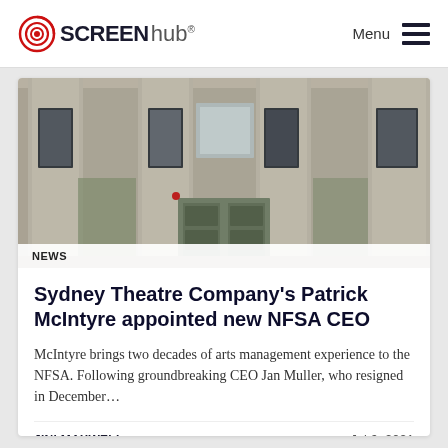SCREEN hub® Menu
[Figure (photo): Exterior facade of a stone building with tall columns, bronze doors, and rectangular windows — appears to be the NFSA (National Film and Sound Archive) building in Canberra.]
NEWS
Sydney Theatre Company's Patrick McIntyre appointed new NFSA CEO
McIntyre brings two decades of arts management experience to the NFSA. Following groundbreaking CEO Jan Muller, who resigned in December…
JINI MAXWELL
Jul 6, 2021